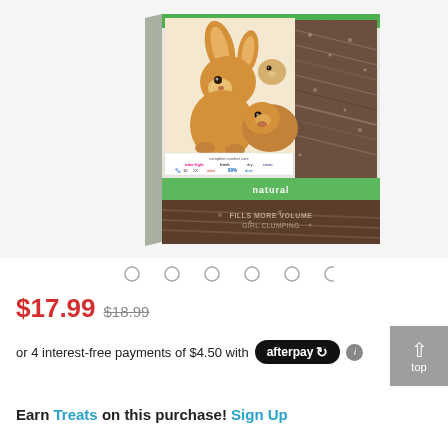[Figure (photo): Product photo of small animal bedding bag (natural color) featuring a rabbit, guinea pig, and hamster on the front label. Green accents and heart-shaped design. Shows 'natural' text on green band.]
○ ○ ○ ○ ○ ○
$17.99 $18.99
or 4 interest-free payments of $4.50 with afterpay i
Earn Treats on this purchase! Sign Up